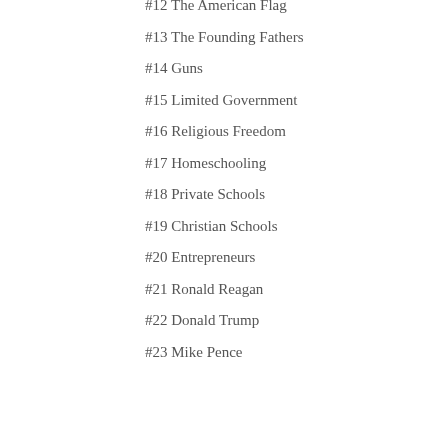#12 The American Flag
#13 The Founding Fathers
#14 Guns
#15 Limited Government
#16 Religious Freedom
#17 Homeschooling
#18 Private Schools
#19 Christian Schools
#20 Entrepreneurs
#21 Ronald Reagan
#22 Donald Trump
#23 Mike Pence